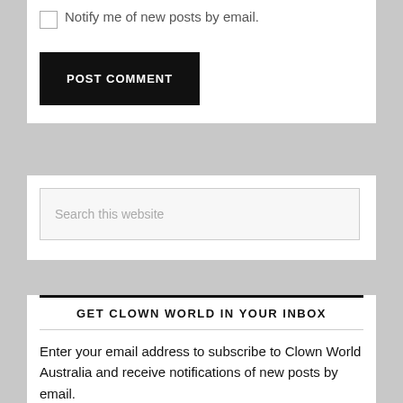Notify me of new posts by email.
POST COMMENT
Search this website
GET CLOWN WORLD IN YOUR INBOX
Enter your email address to subscribe to Clown World Australia and receive notifications of new posts by email.